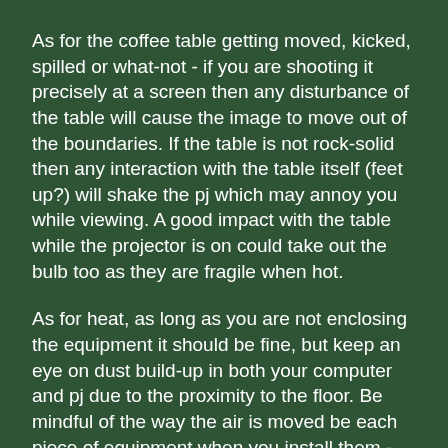As for the coffee table getting moved, kicked, spilled or what-not - if you are shooting it precisely at a screen then any disturbance of the table will cause the image to move out of the boundaries. If the table is not rock-solid then any interaction with the table itself (feet up?) will shake the pj which may annoy you while viewing. A good impact with the table while the projector is on could take out the bulb too as they are fragile when hot.
As for heat, as long as you are not enclosing the equipment it should be fine, but keep an eye on dust build-up in both your computer and pj due to the proximity to the floor. Be mindful of the way the air is moved be each piece of equipment when you install them - i.e. so the pj isn't blowing hot air into the intake fans of the pc and vice versa. With a mini I doubt the latter will be problematic. The heat the projector throws off might bother people sitting in the way - but setting it up and trying it will tell for